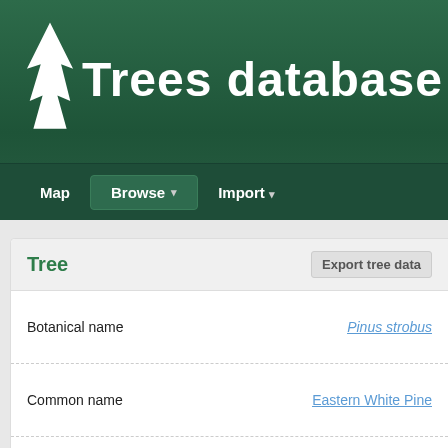Trees database
Map | Browse | Import
Tree
Export tree data
| Field | Value |
| --- | --- |
| Botanical name | Pinus strobus |
| Common name | Eastern White Pine |
| Height | 124.5' |
| Height measurement method | Clinometer/laser rangefinder/sine |
| Girth | 108" |
| Crown spread | (no data) |
| ENTSDTS? |  |